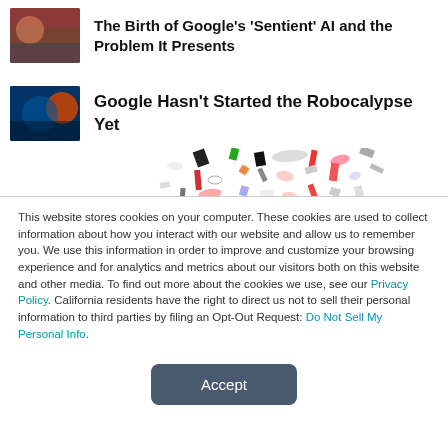The Birth of Google's 'Sentient' AI and the Problem It Presents
Google Hasn't Started the Robocalypse Yet
[Figure (illustration): Scattered colorful everyday objects (glasses, lipstick, shoes, electronics, etc.) arranged in a cloud-like collage]
This website stores cookies on your computer. These cookies are used to collect information about how you interact with our website and allow us to remember you. We use this information in order to improve and customize your browsing experience and for analytics and metrics about our visitors both on this website and other media. To find out more about the cookies we use, see our Privacy Policy. California residents have the right to direct us not to sell their personal information to third parties by filing an Opt-Out Request: Do Not Sell My Personal Info.